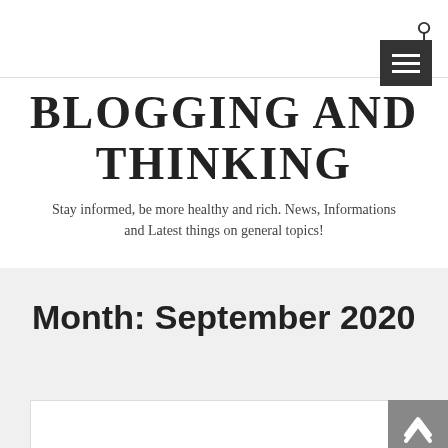BLOGGING AND THINKING
Stay informed, be more healthy and rich. News, Informations and Latest things on general topics!
Month: September 2020